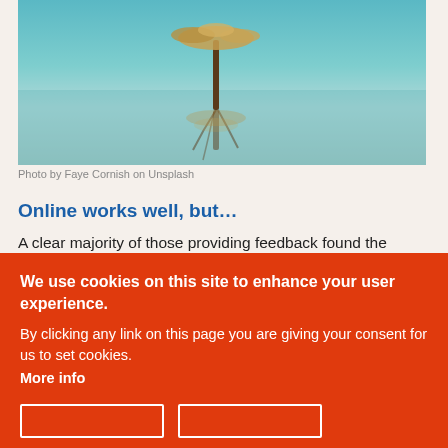[Figure (photo): A tree reflected in still water, teal/blue tones with autumn-colored leaves, artistic nature photograph]
Photo by Faye Cornish on Unsplash
Online works well, but…
A clear majority of those providing feedback found the online process worked well or very well compared to working together face-to-face:
We use cookies on this site to enhance your user experience.
By clicking any link on this page you are giving your consent for us to set cookies.
More info